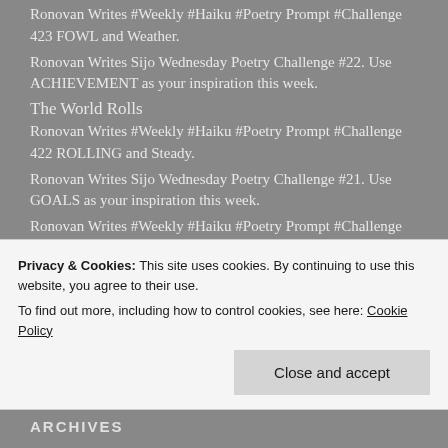Ronovan Writes #Weekly #Haiku #Poetry Prompt #Challenge 423 FOWL and Weather.
Ronovan Writes Sijo Wednesday Poetry Challenge #22. Use ACHIEVEMENT as your inspiration this week.
The World Rolls
Ronovan Writes #Weekly #Haiku #Poetry Prompt #Challenge 422 ROLLING and Steady.
Ronovan Writes Sijo Wednesday Poetry Challenge #21. Use GOALS as your inspiration this week.
Ronovan Writes #Weekly #Haiku #Poetry Prompt #Challenge 421 SAND and Life.
Ronovan Writes Sijo Wednesday Poetry Challenge #20. Use PRIDE as your inspiration this week.
Privacy & Cookies: This site uses cookies. By continuing to use this website, you agree to their use. To find out more, including how to control cookies, see here: Cookie Policy
ARCHIVES